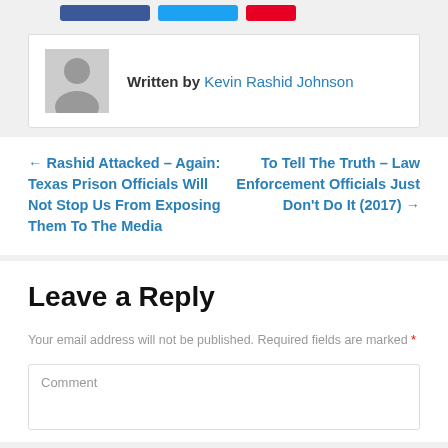[Figure (other): Social share buttons: Facebook (blue), Twitter (blue), Pinterest (red)]
Written by Kevin Rashid Johnson
← Rashid Attacked – Again: Texas Prison Officials Will Not Stop Us From Exposing Them To The Media
To Tell The Truth – Law Enforcement Officials Just Don't Do It (2017) →
Leave a Reply
Your email address will not be published. Required fields are marked *
Comment